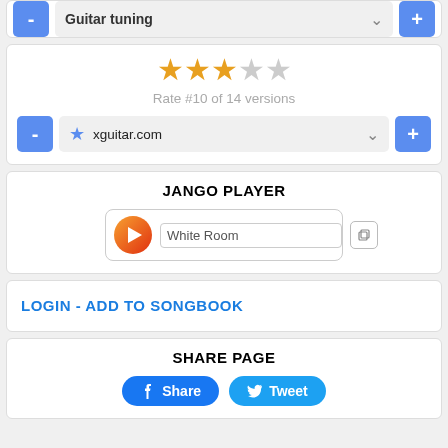[Figure (screenshot): Partial top card with blue minus button and Guitar tuning dropdown]
[Figure (screenshot): Rating widget showing 2.5 stars out of 5, label Rate #10 of 14 versions, and xguitar.com selector with minus and plus buttons]
Rate #10 of 14 versions
JANGO PLAYER
[Figure (screenshot): Jango Player widget with orange play button and White Room text input]
LOGIN - ADD TO SONGBOOK
SHARE PAGE
[Figure (screenshot): Share and Tweet buttons]